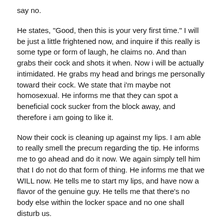say no.
He states, "Good, then this is your very first time." I will be just a little frightened now, and inquire if this really is some type or form of laugh, he claims no. And than grabs their cock and shots it when. Now i will be actually intimidated. He grabs my head and brings me personally toward their cock. We state that i'm maybe not homosexual. He informs me that they can spot a beneficial cock sucker from the block away, and therefore i am going to like it.
Now their cock is cleaning up against my lips. I am able to really smell the precum regarding the tip. He informs me to go ahead and do it now. We again simply tell him that I do not do that form of thing. He informs me that we WILL now. He tells me to start my lips, and have now a flavor of the genuine guy. He tells me that there's no body else within the locker space and no one shall disturb us.